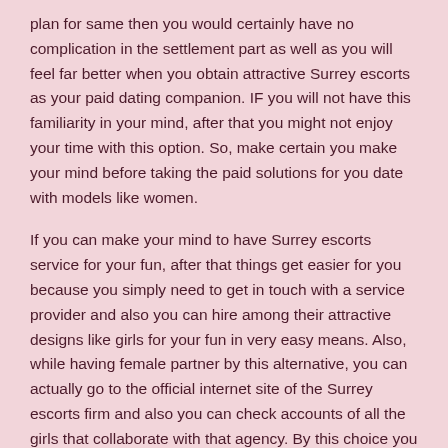plan for same then you would certainly have no complication in the settlement part as well as you will feel far better when you obtain attractive Surrey escorts as your paid dating companion. IF you will not have this familiarity in your mind, after that you might not enjoy your time with this option. So, make certain you make your mind before taking the paid solutions for you date with models like women.
If you can make your mind to have Surrey escorts service for your fun, after that things get easier for you because you simply need to get in touch with a service provider and also you can hire among their attractive designs like girls for your fun in very easy means. Also, while having female partner by this alternative, you can actually go to the official internet site of the Surrey escorts firm and also you can check accounts of all the girls that collaborate with that agency. By this choice you could pick attractive girls that look like a preferred model as well as you can have terrific enjoyable also having them as your buddy or partners.
In addition to this, Surrey escorts solution will certainly also assist you have actually great fun according to your choice. Therefore, if you have any type of type of choice in your mind while anticipating hot models as your dating companion, after that you can share that